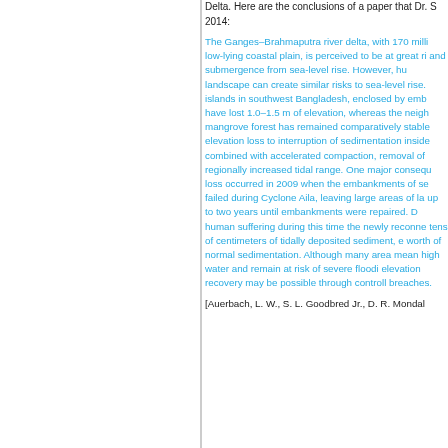Delta. Here are the conclusions of a paper that Dr. S 2014:
The Ganges–Brahmaputra river delta, with 170 milli low-lying coastal plain, is perceived to be at great ri and submergence from sea-level rise. However, hu landscape can create similar risks to sea-level rise. islands in southwest Bangladesh, enclosed by emb have lost 1.0–1.5 m of elevation, whereas the neigh mangrove forest has remained comparatively stable elevation loss to interruption of sedimentation inside combined with accelerated compaction, removal of regionally increased tidal range. One major consequ loss occurred in 2009 when the embankments of se failed during Cyclone Aila, leaving large areas of la up to two years until embankments were repaired. D human suffering during this time the newly reconne tens of centimeters of tidally deposited sediment, e worth of normal sedimentation. Although many area mean high water and remain at risk of severe floodi elevation recovery may be possible through controll breaches.
[Auerbach, L. W., S. L. Goodbred Jr., D. R. Mondal